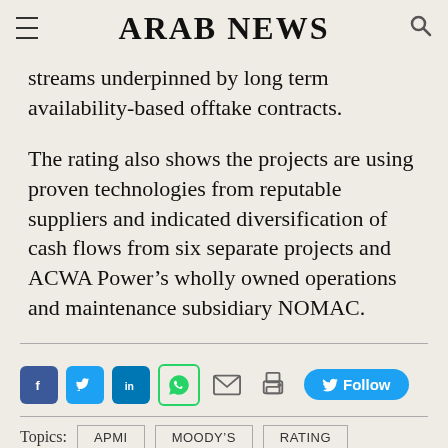ARAB NEWS
streams underpinned by long term availability-based offtake contracts.
The rating also shows the projects are using proven technologies from reputable suppliers and indicated diversification of cash flows from six separate projects and ACWA Power’s wholly owned operations and maintenance subsidiary NOMAC.
[Figure (infographic): Social sharing bar with Facebook, Twitter, LinkedIn, WhatsApp, email, print icons and a Twitter Follow button]
Topics: APMI  MOODY’S  RATING